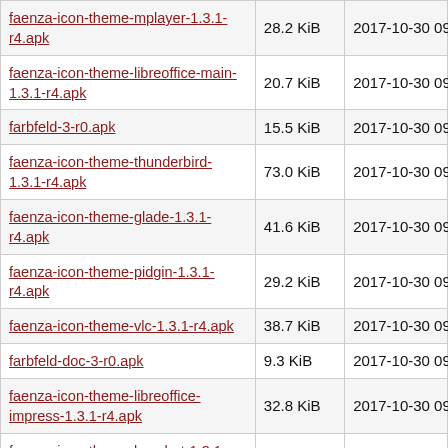| Filename | Size | Date |
| --- | --- | --- |
| faenza-icon-theme-mplayer-1.3.1-r4.apk | 28.2 KiB | 2017-10-30 09:58:53 |
| faenza-icon-theme-libreoffice-main-1.3.1-r4.apk | 20.7 KiB | 2017-10-30 09:58:53 |
| farbfeld-3-r0.apk | 15.5 KiB | 2017-10-30 09:58:53 |
| faenza-icon-theme-thunderbird-1.3.1-r4.apk | 73.0 KiB | 2017-10-30 09:58:53 |
| faenza-icon-theme-glade-1.3.1-r4.apk | 41.6 KiB | 2017-10-30 09:58:53 |
| faenza-icon-theme-pidgin-1.3.1-r4.apk | 29.2 KiB | 2017-10-30 09:58:53 |
| faenza-icon-theme-vlc-1.3.1-r4.apk | 38.7 KiB | 2017-10-30 09:58:53 |
| farbfeld-doc-3-r0.apk | 9.3 KiB | 2017-10-30 09:58:53 |
| faenza-icon-theme-libreoffice-impress-1.3.1-r4.apk | 32.8 KiB | 2017-10-30 09:58:53 |
| faenza-icon-theme-hexchat-1.3.1-r4.apk | 3.5 KiB | 2017-10-30 09:58:53 |
| faenza-icon-theme-totem-1.3.1-r4.apk | 34.3 KiB | 2017-10-30 09:58:53 |